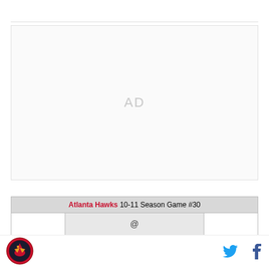[Figure (other): Advertisement placeholder box with 'AD' text centered]
| Atlanta Hawks 10-11 Season Game #30 |
| --- |
|  | @ |  |
[Figure (logo): Atlanta Hawks logo - circular badge with hawk]
[Figure (other): Twitter bird icon in blue]
[Figure (other): Facebook f icon in dark blue]